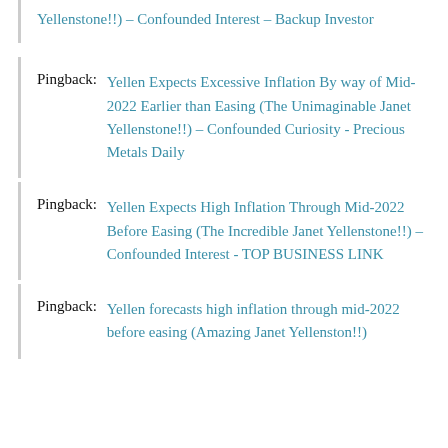Yellenstone!!) – Confounded Interest – Backup Investor
Pingback: Yellen Expects Excessive Inflation By way of Mid-2022 Earlier than Easing (The Unimaginable Janet Yellenstone!!) – Confounded Curiosity - Precious Metals Daily
Pingback: Yellen Expects High Inflation Through Mid-2022 Before Easing (The Incredible Janet Yellenstone!!) – Confounded Interest - TOP BUSINESS LINK
Pingback: Yellen forecasts high inflation through mid-2022 before easing (Amazing Janet Yellenston!!)